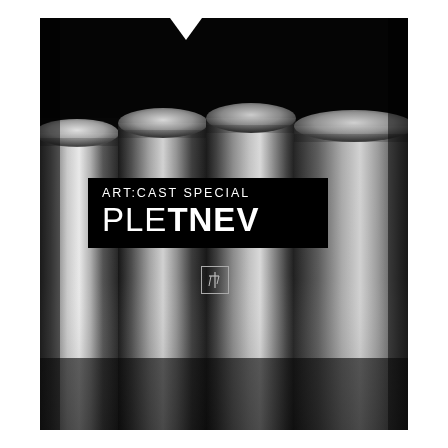[Figure (photo): Black and white photograph of four tall cylindrical metal poles/tubes viewed from below against a dark background, with brushed metallic surfaces showing vertical highlights and gradients.]
ART:CAST SPECIAL PLETNEV